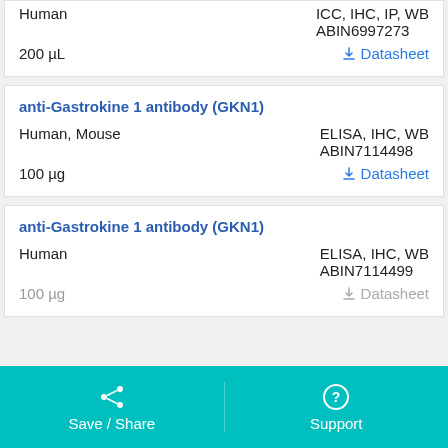Human | ICC, IHC, IP, WB | ABIN6997273 | 200 µL | Datasheet
anti-Gastrokine 1 antibody (GKN1)
Human, Mouse | ELISA, IHC, WB | ABIN7114498 | 100 µg | Datasheet
anti-Gastrokine 1 antibody (GKN1)
Human | ELISA, IHC, WB | ABIN7114499 | 100 µg | Datasheet
Save / Share | Support